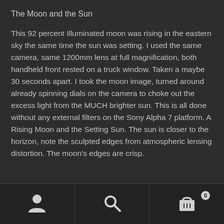The Moon and the Sun
This 92 percent Illuminated moon was rising in the eastern sky the same time the sun was setting. I used the same camera, same 1200mm lens at full magnification, both handheld front rested on a truck window. Taken a maybe 30 seconds apart. I took the moon image, turned around already spinning dials on the camera to choke out the excess light from the MUCH brighter sun. This is all done without any external filters on the Sony Alpha 7 platform. A Rising Moon and the Setting Sun. The sun is closer to the horizon, note the sculpted edges from atmospheric lensing distortion. The moon's edges are crisp.
Navigation bar with user icon, search icon, and cart icon (badge: 0)